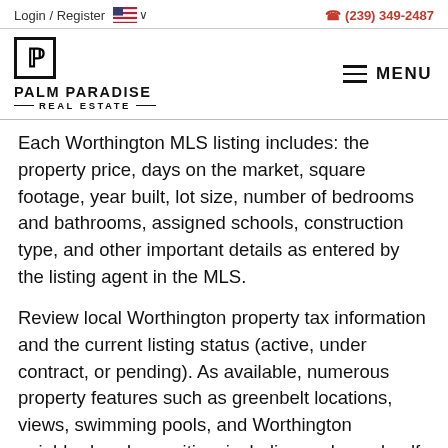Login / Register  🇺🇸 ∨       (239) 349-2487
[Figure (logo): Palm Paradise Real Estate logo: a square box with the letters P inside, bold text PALM PARADISE REAL ESTATE below]
Each Worthington MLS listing includes: the property price, days on the market, square footage, year built, lot size, number of bedrooms and bathrooms, assigned schools, construction type, and other important details as entered by the listing agent in the MLS.
Review local Worthington property tax information and the current listing status (active, under contract, or pending). As available, numerous property features such as greenbelt locations, views, swimming pools, and Worthington neighborhood amenities, including parks and golf courses, will be listed.